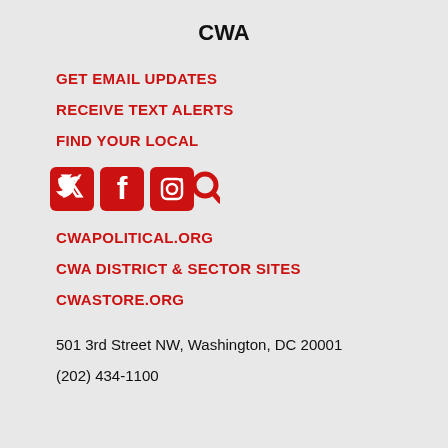CWA
GET EMAIL UPDATES
RECEIVE TEXT ALERTS
FIND YOUR LOCAL
[Figure (illustration): Red social media icons: Twitter bird, Facebook F, Instagram camera, and magnifying glass search icon]
CWAPOLITICAL.ORG
CWA DISTRICT & SECTOR SITES
CWASTORE.ORG
501 3rd Street NW, Washington, DC 20001
(202) 434-1100